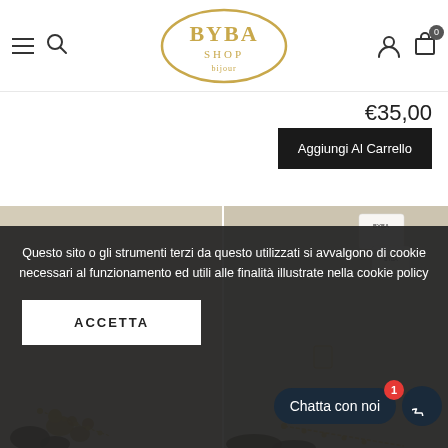[Figure (logo): BYBA SHOP logo in gold text inside a gold oval, with 'bijour' subtitle]
€35,00
Aggiungi Al Carrello
[Figure (photo): Left product photo showing jewelry bracelet with golden elements on beige background]
[Figure (photo): Right product photo showing jewelry and BYBA brand tags on beige background]
Questo sito o gli strumenti terzi da questo utilizzati si avvalgono di cookie necessari al funzionamento ed utili alle finalità illustrate nella cookie policy
ACCETTA
Chatta con noi